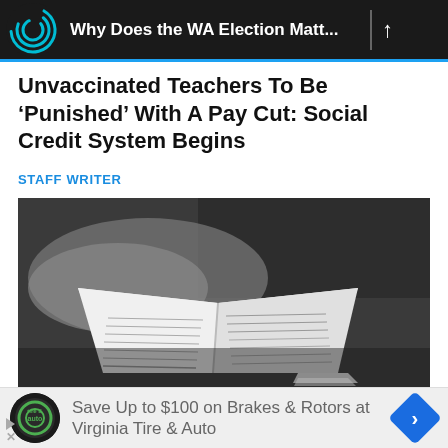Why Does the WA Election Matt...
Unvaccinated Teachers To Be ‘Punished’ With A Pay Cut: Social Credit System Begins
STAFF WRITER
[Figure (photo): Black and white photo of open book or magazine being held in hands, placed on a dark surface]
Save Up to $100 on Brakes & Rotors at Virginia Tire & Auto